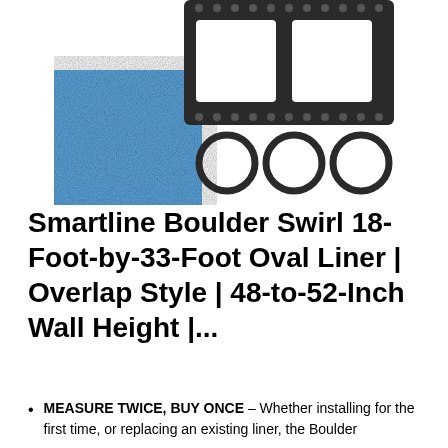[Figure (logo): Smartline logo: blue glitter square on left, dark filmstrip-style frame with two empty square windows on top and three circles on bottom right, forming an L-shape together]
Smartline Boulder Swirl 18-Foot-by-33-Foot Oval Liner | Overlap Style | 48-to-52-Inch Wall Height |...
MEASURE TWICE, BUY ONCE – Whether installing for the first time, or replacing an existing liner, the Boulder